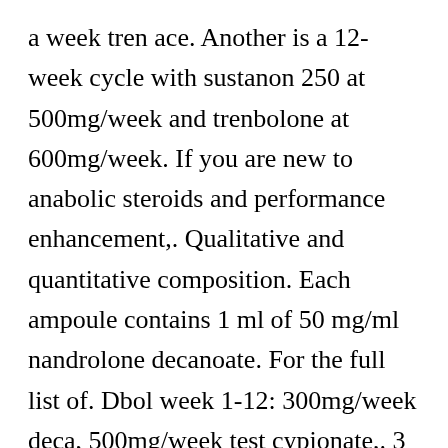a week tren ace. Another is a 12-week cycle with sustanon 250 at 500mg/week and trenbolone at 600mg/week. If you are new to anabolic steroids and performance enhancement,. Qualitative and quantitative composition. Each ampoule contains 1 ml of 50 mg/ml nandrolone decanoate. For the full list of. Dbol week 1-12: 300mg/week deca, 500mg/week test cypionate,. 3 grams of test or 1 gram of test + 500 mg of deca there is no point. Nandrolone decanoate is basically in the field of medicine and is used with